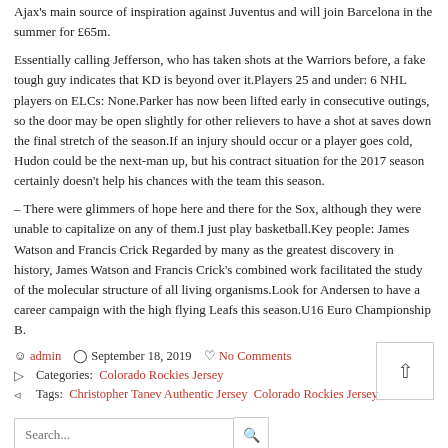Ajax's main source of inspiration against Juventus and will join Barcelona in the summer for £65m.
Essentially calling Jefferson, who has taken shots at the Warriors before, a fake tough guy indicates that KD is beyond over it.Players 25 and under: 6 NHL players on ELCs: None.Parker has now been lifted early in consecutive outings, so the door may be open slightly for other relievers to have a shot at saves down the final stretch of the season.If an injury should occur or a player goes cold, Hudon could be the next-man up, but his contract situation for the 2017 season certainly doesn't help his chances with the team this season.
– There were glimmers of hope here and there for the Sox, although they were unable to capitalize on any of them.I just play basketball.Key people: James Watson and Francis Crick Regarded by many as the greatest discovery in history, James Watson and Francis Crick's combined work facilitated the study of the molecular structure of all living organisms.Look for Andersen to have a career campaign with the high flying Leafs this season.U16 Euro Championship B.
admin   September 18, 2019   No Comments
Categories: Colorado Rockies Jersey
Tags: Christopher Tanev Authentic Jersey Colorado Rockies Jersey
Recent Posts